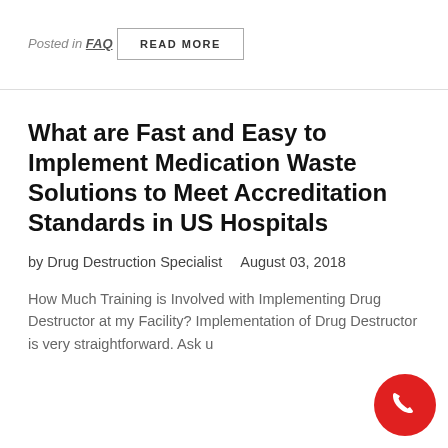Posted in FAQ
READ MORE
What are Fast and Easy to Implement Medication Waste Solutions to Meet Accreditation Standards in US Hospitals
by Drug Destruction Specialist   August 03, 2018
How Much Training is Involved with Implementing Drug Destructor at my Facility? Implementation of Drug Destructor is very straightforward. Ask u…